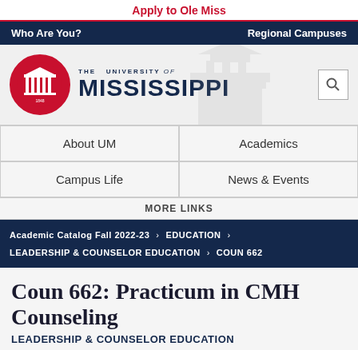Apply to Ole Miss
Who Are You?    Regional Campuses
[Figure (logo): University of Mississippi logo with red circular emblem and THE UNIVERSITY of MISSISSIPPI text]
About UM
Academics
Campus Life
News & Events
MORE LINKS
Academic Catalog Fall 2022-23 › EDUCATION › LEADERSHIP & COUNSELOR EDUCATION › COUN 662
Coun 662: Practicum in CMH Counseling
LEADERSHIP & COUNSELOR EDUCATION